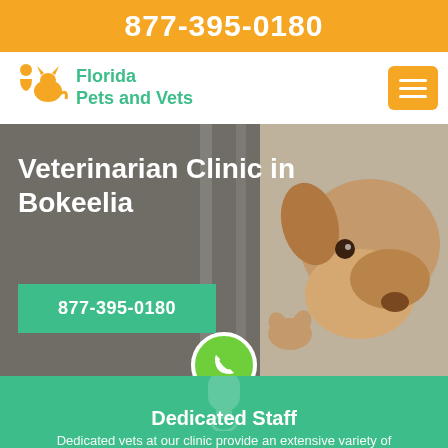877-395-0180
[Figure (logo): Florida Pets and Vets logo with orange animal silhouettes and green brand text]
Veterinarian Clinic in Bokeelia
877-395-0180
[Figure (photo): A dog looking out a window, hero background image]
Dedicated Staff
Dedicated vets at our clinic provide an extensive variety of